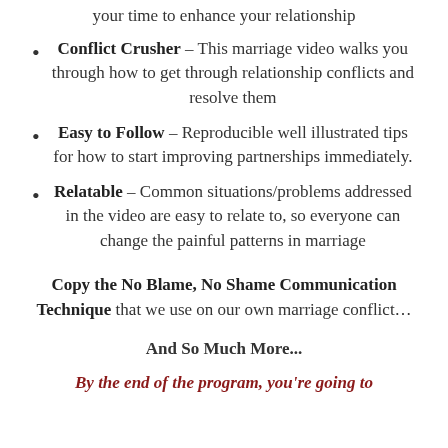your time to enhance your relationship
Conflict Crusher – This marriage video walks you through how to get through relationship conflicts and resolve them
Easy to Follow – Reproducible well illustrated tips for how to start improving partnerships immediately.
Relatable – Common situations/problems addressed in the video are easy to relate to, so everyone can change the painful patterns in marriage
Copy the No Blame, No Shame Communication Technique that we use on our own marriage conflict…
And So Much More...
By the end of the program, you're going to